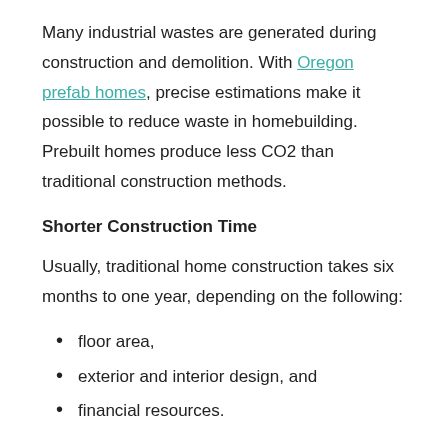Many industrial wastes are generated during construction and demolition. With Oregon prefab homes, precise estimations make it possible to reduce waste in homebuilding. Prebuilt homes produce less CO2 than traditional construction methods.
Shorter Construction Time
Usually, traditional home construction takes six months to one year, depending on the following:
floor area,
exterior and interior design, and
financial resources.
However, with prefab homes, it only takes 6-18 weeks, depending on the design and material preference of the client and the building company. Once these preferences are made final, the company goes with the production of the premade unit. After the production and quality check, shipment to the actual location and its assembly